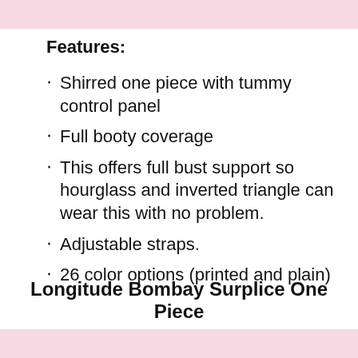Features:
Shirred one piece with tummy control panel
Full booty coverage
This offers full bust support so hourglass and inverted triangle can wear this with no problem.
Adjustable straps.
26 color options (printed and plain)
Longitude Bombay Surplice One Piece